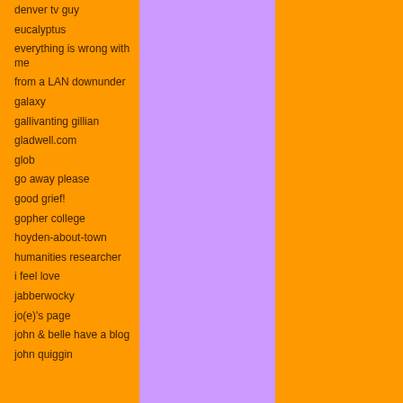[Figure (photo): Dark outdoor photo, likely of trees or vegetation]
denver tv guy
eucalyptus
everything is wrong with me
from a LAN downunder
galaxy
gallivanting gillian
gladwell.com
glob
go away please
good grief!
gopher college
hoyden-about-town
humanities researcher
i feel love
jabberwocky
jo(e)'s page
john & belle have a blog
john quiggin